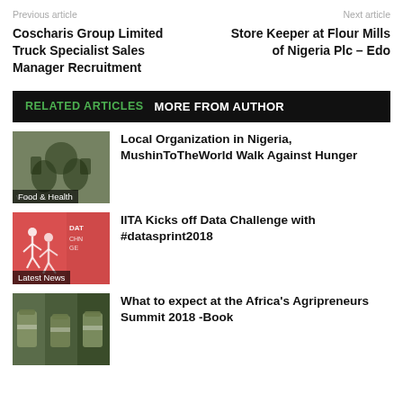Previous article | Next article
Coscharis Group Limited Truck Specialist Sales Manager Recruitment
Store Keeper at Flour Mills of Nigeria Plc – Edo
RELATED ARTICLES  MORE FROM AUTHOR
[Figure (photo): Thumbnail image with Food & Health label]
Local Organization in Nigeria, MushinToTheWorld Walk Against Hunger
[Figure (photo): Pink thumbnail with runners silhouette and Latest News label]
IITA Kicks off Data Challenge with #datasprint2018
[Figure (photo): Thumbnail with jars/products image]
What to expect at the Africa's Agripreneurs Summit 2018 -Book